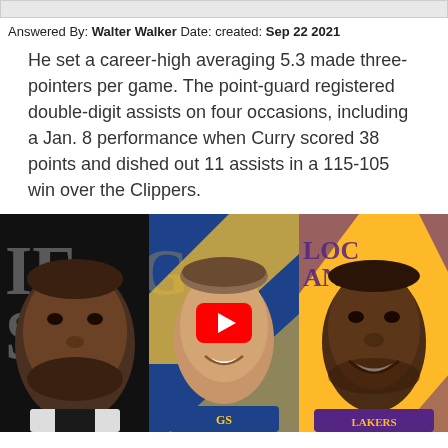Answered By: Walter Walker Date: created: Sep 22 2021
He set a career-high averaging 5.3 made three-pointers per game. The point-guard registered double-digit assists on four occasions, including a Jan. 8 performance when Curry scored 38 points and dished out 11 assists in a 115-105 win over the Clippers.
[Figure (photo): YouTube video thumbnail showing three NBA players side by side: Kevin Durant (left, black background), Stephen Curry (center, Golden State Warriors blue/gold background), and LeBron James (right, Los Angeles Lakers gold/purple background). A YouTube play button is overlaid in the center.]